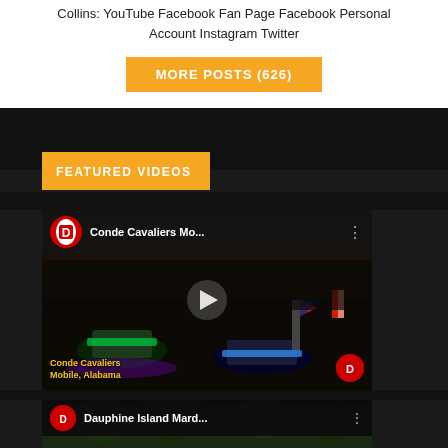Collins: YouTube Facebook Fan Page Facebook Personal Account Instagram Twitter
MORE POSTS (626)
FEATURED VIDEOS
[Figure (screenshot): YouTube video thumbnail for 'Conde Cavaliers Mo...' showing a night parade with illuminated vehicles, people with flags, crowd in background. Text overlay: 'Conde Cavaliers Mobile, Alabama' with logo.]
[Figure (screenshot): YouTube video thumbnail partial view for 'Dauphine Island Mard...' showing an outdoor scene with trees. Partially visible at bottom.]